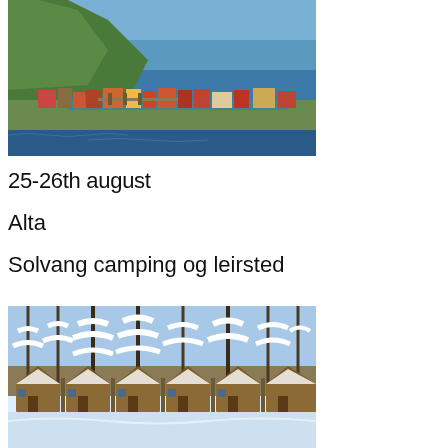[Figure (photo): Aerial view of a coastal Norwegian village with green hillside, buildings along the waterfront, and blue fjord/sea in the background]
25-26th august
Alta
Solvang camping og leirsted
[Figure (photo): Snow-covered wooden cabin buildings surrounded by snow-laden pine trees in winter]